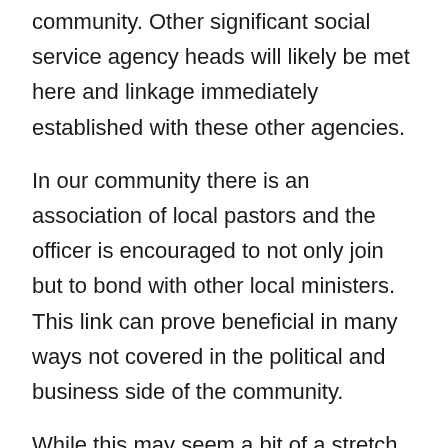community. Other significant social service agency heads will likely be met here and linkage immediately established with these other agencies.
In our community there is an association of local pastors and the officer is encouraged to not only join but to bond with other local ministers. This link can prove beneficial in many ways not covered in the political and business side of the community.
While this may seem a bit of a stretch, board members need to establish relationships with Salvation Army command at the higher levels. They need to know their divisional leaders.